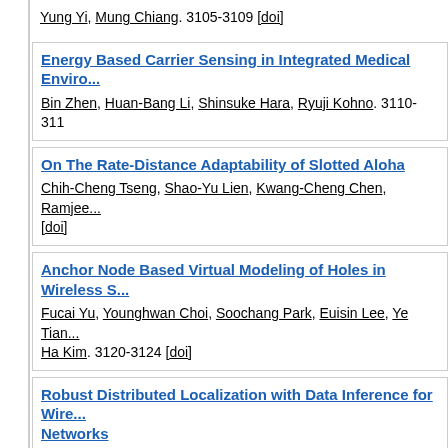Yung Yi, Mung Chiang. 3105-3109 [doi]
Energy Based Carrier Sensing in Integrated Medical Environments
Bin Zhen, Huan-Bang Li, Shinsuke Hara, Ryuji Kohno. 3110-31...
On The Rate-Distance Adaptability of Slotted Aloha
Chih-Cheng Tseng, Shao-Yu Lien, Kwang-Cheng Chen, Ramjee... [doi]
Anchor Node Based Virtual Modeling of Holes in Wireless S...
Fucai Yu, Younghwan Choi, Soochang Park, Euisin Lee, Ye Tian... Ha Kim. 3120-3124 [doi]
Robust Distributed Localization with Data Inference for Wireless Networks
Yu Zhang, Lin Zhang, Xiuming Shan. 3125-3129 [doi]
A Scalable Low-Power WSAN Solution for Large-Scale Buildings